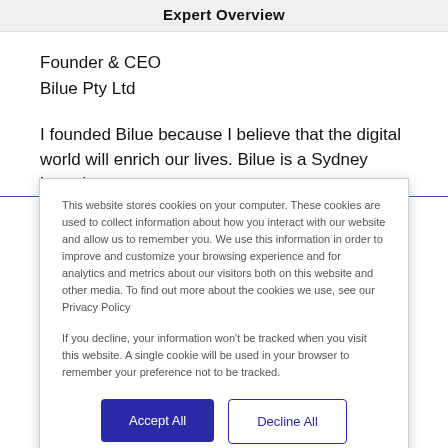Expert Overview
Founder & CEO
Bilue Pty Ltd
I founded Bilue because I believe that the digital world will enrich our lives. Bilue is a Sydney based
This website stores cookies on your computer. These cookies are used to collect information about how you interact with our website and allow us to remember you. We use this information in order to improve and customize your browsing experience and for analytics and metrics about our visitors both on this website and other media. To find out more about the cookies we use, see our Privacy Policy
If you decline, your information won't be tracked when you visit this website. A single cookie will be used in your browser to remember your preference not to be tracked.
Accept All
Decline All